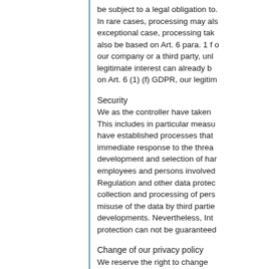be subject to a legal obligation to. In rare cases, processing may also exceptional case, processing tak also be based on Art. 6 para. 1 f o our company or a third party, unl legitimate interest can already b on Art. 6 (1) (f) GDPR, our legitim
Security
We as the controller have taken This includes in particular measu have established processes that immediate response to the threa development and selection of har employees and persons involved Regulation and other data protec collection and processing of pers misuse of the data by third partie developments. Nevertheless, Int protection can not be guaranteed
Change of our privacy policy
We reserve the right to change